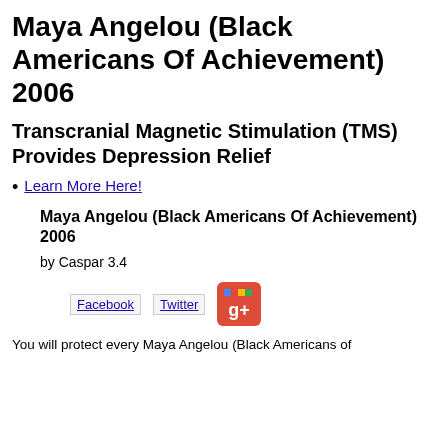Maya Angelou (Black Americans Of Achievement) 2006
Transcranial Magnetic Stimulation (TMS) Provides Depression Relief
Learn More Here!
Maya Angelou (Black Americans Of Achievement) 2006
by Caspar 3.4
[Figure (logo): Social media sharing icons: Facebook, Twitter, Google+]
You will protect every Maya Angelou (Black Americans of